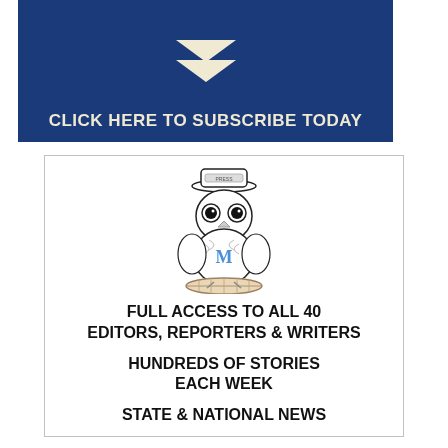[Figure (illustration): Dark blue banner with two downward-pointing chevrons (cream/beige colored) on a navy blue background, serving as a subscription call-to-action banner header.]
CLICK HERE TO SUBSCRIBE TODAY
[Figure (logo): Illustrated owl mascot wearing a press hat, with an 'M' on its chest, perched on a rolled newspaper log. Black and white line drawing style.]
FULL ACCESS TO ALL 40 EDITORS, REPORTERS & WRITERS
HUNDREDS OF STORIES EACH WEEK
STATE & NATIONAL NEWS